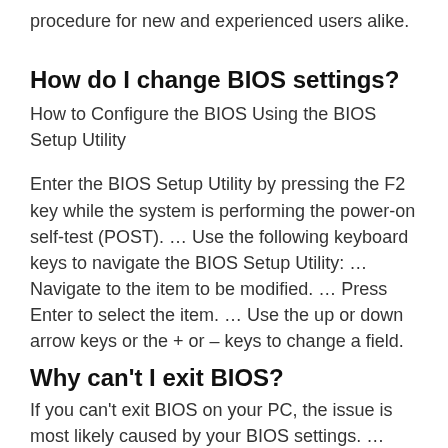procedure for new and experienced users alike.
How do I change BIOS settings?
How to Configure the BIOS Using the BIOS Setup Utility
Enter the BIOS Setup Utility by pressing the F2 key while the system is performing the power-on self-test (POST). … Use the following keyboard keys to navigate the BIOS Setup Utility: … Navigate to the item to be modified. … Press Enter to select the item. … Use the up or down arrow keys or the + or – keys to change a field.
Why can't I exit BIOS?
If you can't exit BIOS on your PC, the issue is most likely caused by your BIOS settings. … Enter BIOS, go to Security Options and disable Secure Boot. Now save changes and restart your PC. Enter BIOS.